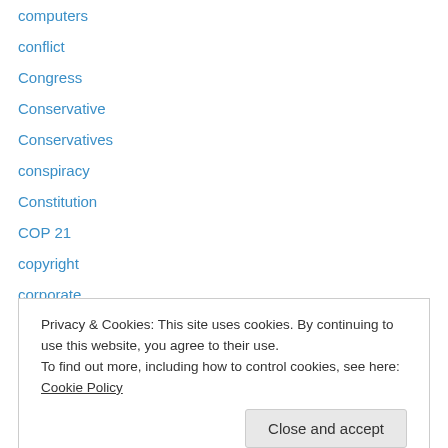computers
conflict
Congress
Conservative
Conservatives
conspiracy
Constitution
COP 21
copyright
corporate
CORPORATION
corporations
corruption
Privacy & Cookies: This site uses cookies. By continuing to use this website, you agree to their use.
To find out more, including how to control cookies, see here: Cookie Policy
Cuba